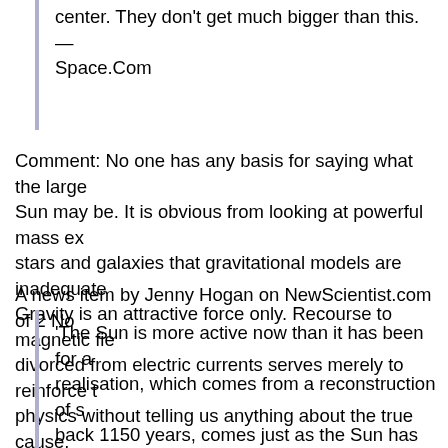center. They don't get much bigger than this. — Space.Com
Comment: No one has any basis for saying what the largest Sun may be. It is obvious from looking at powerful mass ejections from stars and galaxies that gravitational models are inadequate. Gravity is an attractive force only. Recourse to magnetic fields divorced from electric currents serves merely to reinforce bad physics without telling us anything about the true cause.
A news item by Jenny Hogan on NewScientist.com of 2 No
'The Sun is more active now than it has been for a realisation, which comes from a reconstruction of solar activity back 1150 years, comes just as the Sun has thrown out last week, giant plumes of material have burst out and streamed into space, causing geomagnetic sto